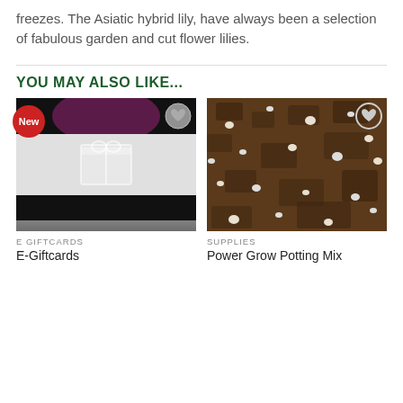freezes. The Asiatic hybrid lily, have always been a selection of fabulous garden and cut flower lilies.
YOU MAY ALSO LIKE...
[Figure (photo): E-Giftcard product image with 'Out of Season' overlay and 'New' badge, with wishlist heart button]
[Figure (photo): Power Grow Potting Mix product image showing dark soil with white perlite particles, with wishlist heart button]
E GIFTCARDS
E-Giftcards
SUPPLIES
Power Grow Potting Mix